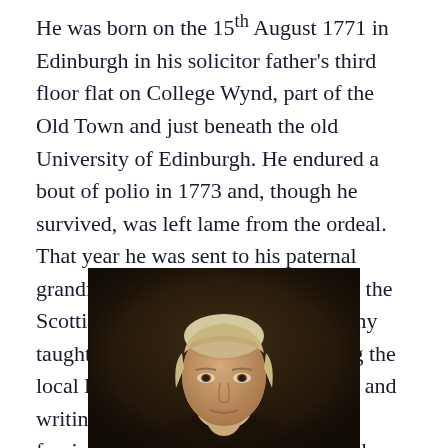He was born on the 15th August 1771 in Edinburgh in his solicitor father's third floor flat on College Wynd, part of the Old Town and just beneath the old University of Edinburgh. He endured a bout of polio in 1773 and, though he survived, was left lame from the ordeal. That year he was sent to his paternal grandfather's farm at Sandyknowe in the Scottish Borders where his Aunt Jenny taught him reading and speech, using the local legends and folklore as reading and writing material. Many of these tales fascinated Scott, and he would later draw on
[Figure (photo): Portrait painting of an elderly man with light/grey hair, depicted from the shoulders up against a dark brown background, in a classical portrait style.]